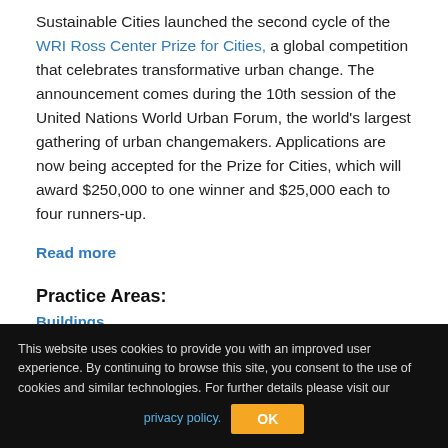Sustainable Cities launched the second cycle of the WRI Ross Center Prize for Cities, a global competition that celebrates transformative urban change. The announcement comes during the 10th session of the United Nations World Urban Forum, the world's largest gathering of urban changemakers. Applications are now being accepted for the Prize for Cities, which will award $250,000 to one winner and $25,000 each to four runners-up.
Read more
Practice Areas:
Buildings
Sustainable Urban Mobility
Urban Climate Resilience
Urban Governance
Water
This website uses cookies to provide you with an improved user experience. By continuing to browse this site, you consent to the use of cookies and similar technologies. For further details please visit our privacy policy.